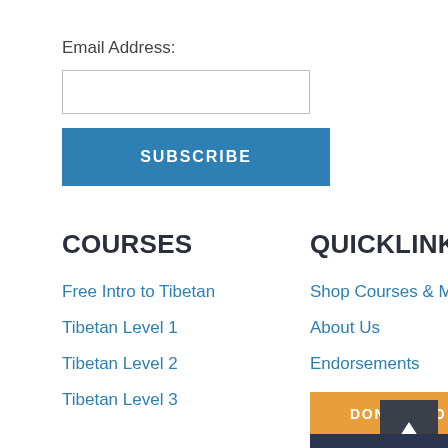Email Address:
SUBSCRIBE
COURSES
QUICKLINKS
Free Intro to Tibetan
Tibetan Level 1
Tibetan Level 2
Tibetan Level 3
Shop Courses & Materials
About Us
Endorsements
DONATE TO TLI